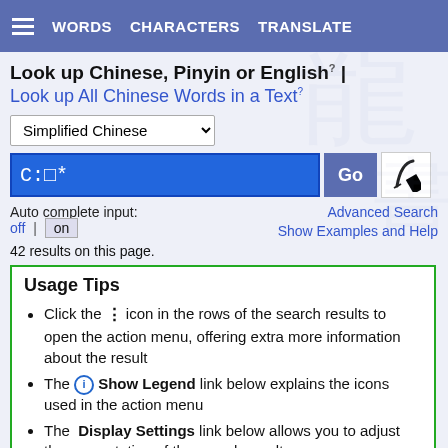WORDS  CHARACTERS  TRANSLATE
Look up Chinese, Pinyin or English? | Look up All Chinese Words in a Text?
Simplified Chinese (dropdown)
C:□* [search input]  Go  [handwriting button]
Auto complete input: off | on    Advanced Search    Show Examples and Help
42 results on this page.
Usage Tips
Click the ⋮ icon in the rows of the search results to open the action menu, offering extra more information about the result
The ⓘ Show Legend link below explains the icons used in the action menu
The Display Settings link below allows you to adjust the presentation of the search results
More information about this dictionary can be found